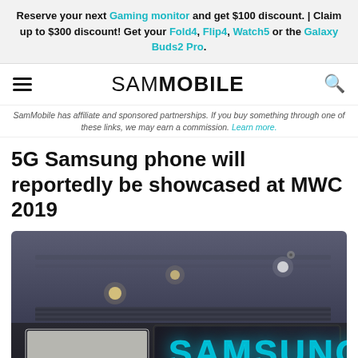Reserve your next Gaming monitor and get $100 discount. | Claim up to $300 discount! Get your Fold4, Flip4, Watch5 or the Galaxy Buds2 Pro.
SAMMOBILE
SamMobile has affiliate and sponsored partnerships. If you buy something through one of these links, we may earn a commission. Learn more.
5G Samsung phone will reportedly be showcased at MWC 2019
[Figure (photo): Samsung store interior showing illuminated cyan Samsung logo sign on dark ceiling with recessed lighting]